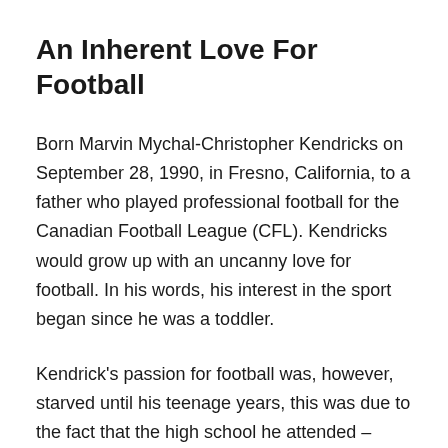An Inherent Love For Football
Born Marvin Mychal-Christopher Kendricks on September 28, 1990, in Fresno, California, to a father who played professional football for the Canadian Football League (CFL). Kendricks would grow up with an uncanny love for football. In his words, his interest in the sport began since he was a toddler.
Kendrick's passion for football was, however, starved until his teenage years, this was due to the fact that the high school he attended – Bullard Talent had not a football team but a soccer team. In order to satisfy